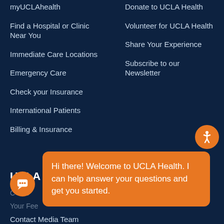myUCLAhealth
Find a Hospital or Clinic Near You
Immediate Care Locations
Emergency Care
Check your Insurance
International Patients
Billing & Insurance
Donate to UCLA Health
Volunteer for UCLA Health
Share Your Experience
Subscribe to our Newsletter
UCLA Health
Contact Media Team
Hi there! Welcome to UCLA Health. I can help answer your questions and get you started.